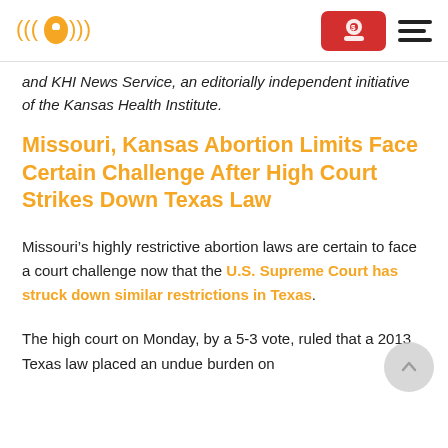KHI News Service logo, donate button, hamburger menu
and KHI News Service, an editorially independent initiative of the Kansas Health Institute.
Missouri, Kansas Abortion Limits Face Certain Challenge After High Court Strikes Down Texas Law
Missouri’s highly restrictive abortion laws are certain to face a court challenge now that the U.S. Supreme Court has struck down similar restrictions in Texas.
The high court on Monday, by a 5-3 vote, ruled that a 2013 Texas law placed an undue burden on